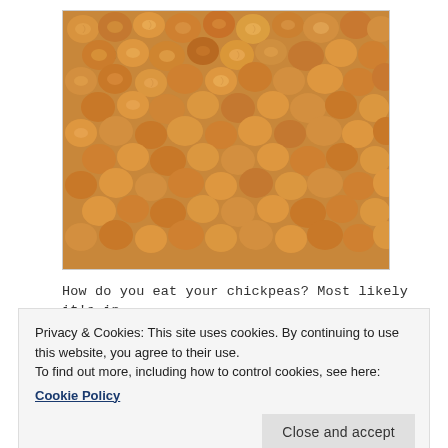[Figure (photo): Close-up photograph of many dried chickpeas (garbanzo beans) filling the entire frame, showing their tan/beige wrinkled texture.]
How do you eat your chickpeas? Most likely it's in
Privacy & Cookies: This site uses cookies. By continuing to use this website, you agree to their use.
To find out more, including how to control cookies, see here:
Cookie Policy
[Close and accept]
make hummus, or toss them in with some white